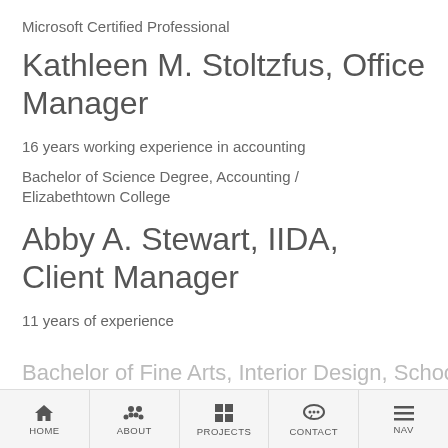Microsoft Certified Professional
Kathleen M. Stoltzfus, Office Manager
16 years working experience in accounting
Bachelor of Science Degree, Accounting / Elizabethtown College
Abby A. Stewart, IIDA, Client Manager
11 years of experience
Bachelor of Fine Arts, Interior Design, School…
HOME  ABOUT  PROJECTS  CONTACT  NAV